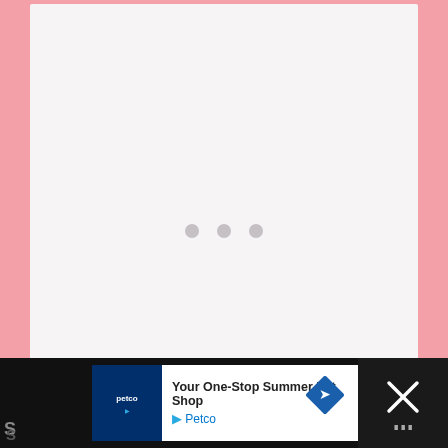[Figure (other): Light grey content card placeholder with three grey loading dots in the center, on a pink background]
We see what you’re doin’ there, TLC! You’re trying to place subtle hints in here that ol’ Jing is knocked up. Cute.
[Figure (other): Advertisement bar at bottom: Petco - Your One-Stop Summer Pet Shop ad with blue Petco logo, play button, navigation diamond icon, and a close X button on the right side. Partial text on far left and right edges of dark bar.]